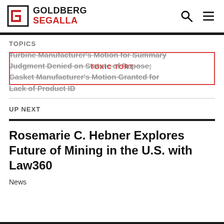[Figure (logo): Goldberg Segalla law firm logo with stylized G-S icon and firm name in black and red]
TOPICS
Turbine Manufacturer's Motion for Summary Judgment Denied on Statute of Repose; Gasket Manufacturer's Motion Granted for Lack of Product ID
UP NEXT
Rosemarie C. Hebner Explores Future of Mining in the U.S. with Law360
News